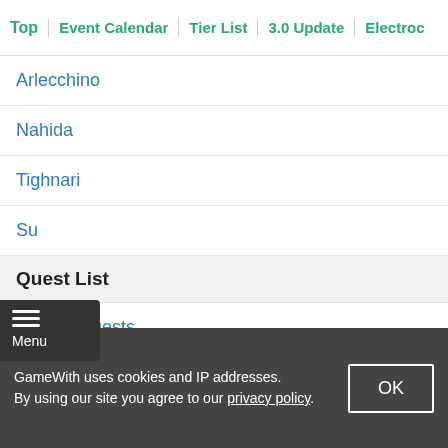Top | Event Calendar | Tier List | 3.0 Update | Electroc
Arlecchino
Nahida
Tighnari
Su
Quest List
Archon Quests
orld Quests
Inazuma World Quests
Mondstadt World Quests
GameWith uses cookies and IP addresses. By using our site you agree to our privacy policy.